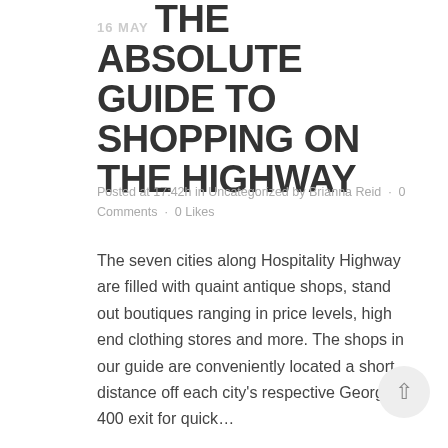16 MAY THE ABSOLUTE GUIDE TO SHOPPING ON THE HIGHWAY
Posted at 17:42h in Uncategorized by Brianna Reid · 0 Comments · 0 Likes
The seven cities along Hospitality Highway are filled with quaint antique shops, stand out boutiques ranging in price levels, high end clothing stores and more. The shops in our guide are conveniently located a short distance off each city's respective Georgia 400 exit for quick...